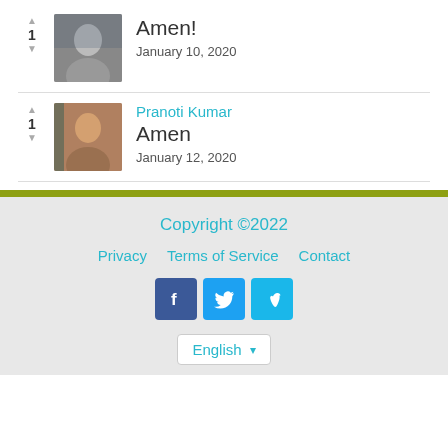1 | Amen! | January 10, 2020
Pranoti Kumar | 1 | Amen | January 12, 2020
Copyright ©2022 | Privacy | Terms of Service | Contact | English